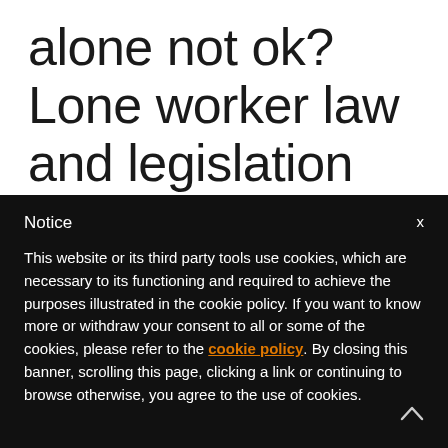alone not ok? Lone worker law and legislation
Notice
This website or its third party tools use cookies, which are necessary to its functioning and required to achieve the purposes illustrated in the cookie policy. If you want to know more or withdraw your consent to all or some of the cookies, please refer to the cookie policy. By closing this banner, scrolling this page, clicking a link or continuing to browse otherwise, you agree to the use of cookies.